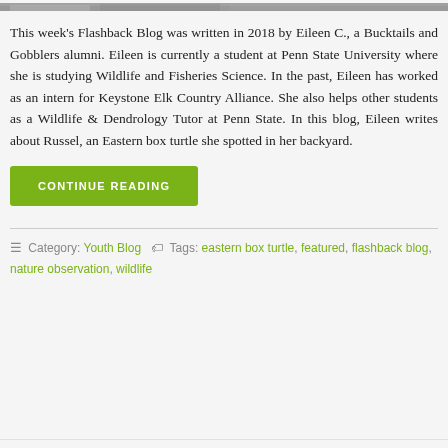[Figure (photo): Top portion of a photo, likely showing an Eastern box turtle in a natural setting]
This week's Flashback Blog was written in 2018 by Eileen C., a Bucktails and Gobblers alumni. Eileen is currently a student at Penn State University where she is studying Wildlife and Fisheries Science. In the past, Eileen has worked as an intern for Keystone Elk Country Alliance. She also helps other students as a Wildlife & Dendrology Tutor at Penn State. In this blog, Eileen writes about Russel, an Eastern box turtle she spotted in her backyard.
CONTINUE READING
Category: Youth Blog  Tags: eastern box turtle, featured, flashback blog, nature observation, wildlife